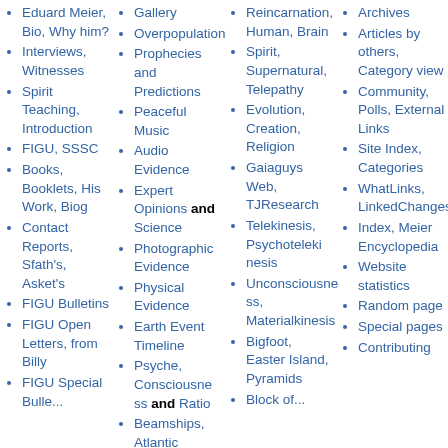Eduard Meier, Bio, Why him?
Interviews, Witnesses
Spirit Teaching, Introduction
FIGU, SSSC
Books, Booklets, His Work, Biog
Contact Reports, Sfath's, Asket's
FIGU Bulletins
FIGU Open Letters, from Billy
FIGU Special Bulle...
Gallery
Overpopulation
Prophecies and Predictions
Peaceful Music
Audio Evidence
Expert Opinions and Science
Photographic Evidence
Physical Evidence
Earth Event Timeline
Psyche, Consciousness and Ratio
Beamships, Atlantic
Reincarnation, Human, Brain
Spirit, Supernatural, Telepathy
Evolution, Creation, Religion
Gaiaguys Web, TJResearch
Telekinesis, Psychotelekinesis
Unconsciousness, Materialkinesis
Bigfoot, Easter Island, Pyramids
Block of...
Archives
Articles by others, Category view
Community, Polls, External Links
Site Index, Categories
WhatLinks, LinkedChanges
Index, Meier Encyclopedia
Website statistics
Random page
Special pages
Contributing